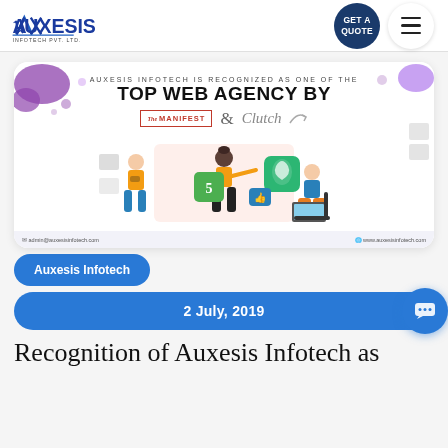Auxesis Infotech Pvt. Ltd. | Get a Quote
[Figure (illustration): Promotional banner: Auxesis Infotech is recognized as one of the TOP WEB AGENCY BY The Manifest & Clutch, with illustrated characters working on web technologies (HTML5, Drupal), contact info at bottom]
Auxesis Infotech
2 July, 2019
Recognition of Auxesis Infotech as